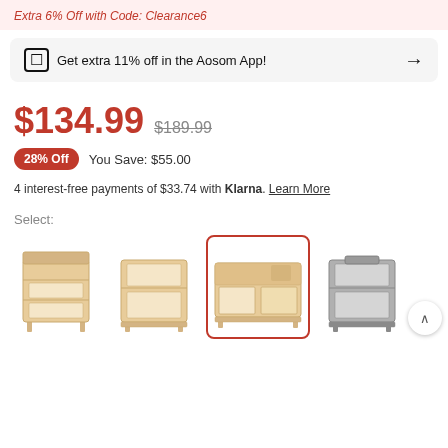Extra 6% Off with Code: Clearance6
Get extra 11% off in the Aosom App!
$134.99  $189.99
28% Off   You Save: $55.00
4 interest-free payments of $33.74 with Klarna. Learn More
Select:
[Figure (photo): Four product variant thumbnails of rabbit/guinea pig hutch cage furniture in different styles: tall narrow light wood, medium light wood front-facing, wide low selected light wood, and grey version. The third (wide low light wood) is highlighted with a red border.]